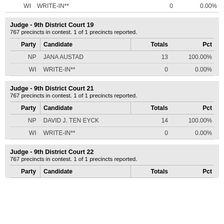| Party | Candidate | Totals | Pct |
| --- | --- | --- | --- |
| WI | WRITE-IN** | 0 | 0.00% |
Judge - 9th District Court 19
767 precincts in contest. 1 of 1 precincts reported.
| Party | Candidate | Totals | Pct |
| --- | --- | --- | --- |
| NP | JANA AUSTAD | 13 | 100.00% |
| WI | WRITE-IN** | 0 | 0.00% |
Judge - 9th District Court 21
767 precincts in contest. 1 of 1 precincts reported.
| Party | Candidate | Totals | Pct |
| --- | --- | --- | --- |
| NP | DAVID J. TEN EYCK | 14 | 100.00% |
| WI | WRITE-IN** | 0 | 0.00% |
Judge - 9th District Court 22
767 precincts in contest. 1 of 1 precincts reported.
| Party | Candidate | Totals | Pct |
| --- | --- | --- | --- |